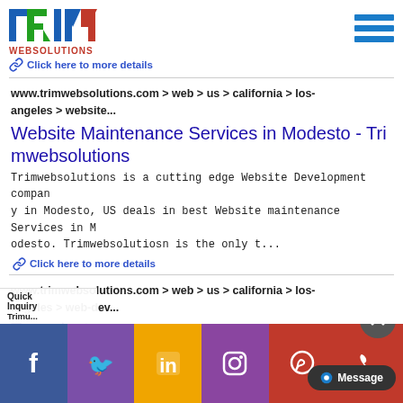[Figure (logo): TRIM WEBSOLUTIONS logo with blue T, green R, blue I, red/blue M letters and 'WEBSOLUTIONS' text in red below]
Click here to more details
www.trimwebsolutions.com > web > us > california > los-angeles > website...
Website Maintenance Services in Modesto - Trimwebsolutions
Trimwebsolutions is a cutting edge Website Development company in Modesto, US deals in best Website maintenance Services in Modesto. Trimwebsolutiosn is the only t...
Click here to more details
www.trimwebsolutions.com > web > us > california > los-angeles > web-dev...
Top ... odesto
Quick Inquiry Trimu... n Modest
[Figure (infographic): Social media icons bar at bottom: Facebook, Twitter, LinkedIn, Instagram, WhatsApp, Phone icons with Message button and scroll-to-top button]